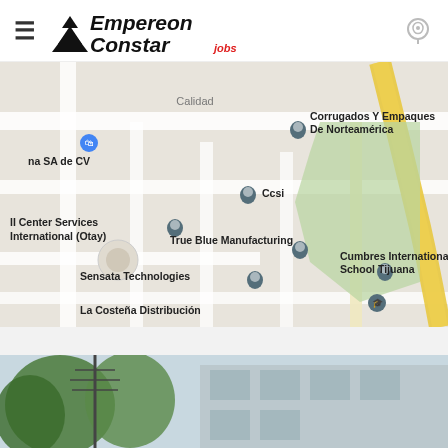[Figure (logo): Empereon Constar Jobs logo with hamburger menu icon and location pin icon on right]
[Figure (map): Google Maps screenshot showing industrial area in Tijuana with location pins for: Corrugados Y Empaques De Norteamérica, Ccsi, II Center Services International (Otay), True Blue Manufacturing, Sensata Technologies, La Costeña Distribución, Cumbres International School Tijuana, and na SA de CV]
[Figure (photo): Street-level photo showing trees and a building facade]